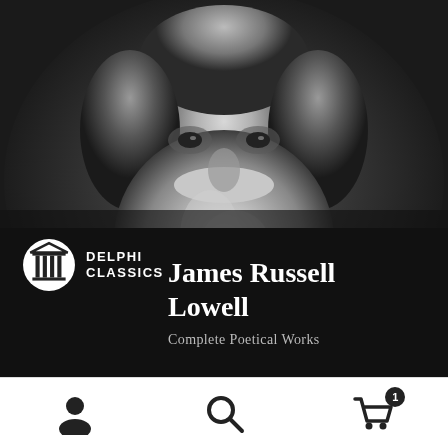[Figure (photo): Black and white portrait photograph of James Russell Lowell, an elderly bearded man in dark formal attire, close-up from shoulders up showing a large white beard and dark coat]
[Figure (logo): Delphi Classics logo: white circular icon with a classical Greek column (Ionic/Doric temple columns) design, next to text reading DELPHI CLASSICS in white bold sans-serif capitals]
James Russell Lowell
Complete Poetical Works
[Figure (infographic): Bottom navigation bar with three icons: person/user icon on left, magnifying glass/search icon in center, shopping cart with badge showing '1' on right]